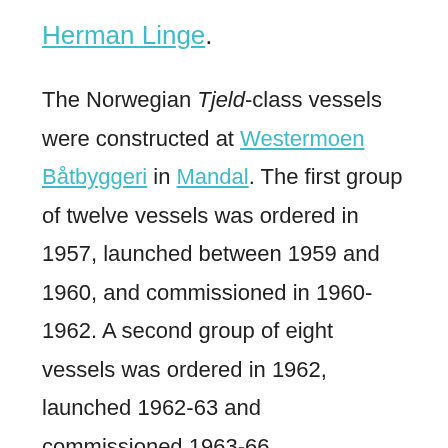Herman Linge.
The Norwegian Tjeld-class vessels were constructed at Westermoen Båtbyggeri in Mandal. The first group of twelve vessels was ordered in 1957, launched between 1959 and 1960, and commissioned in 1960-1962. A second group of eight vessels was ordered in 1962, launched 1962-63 and commissioned 1963-66.